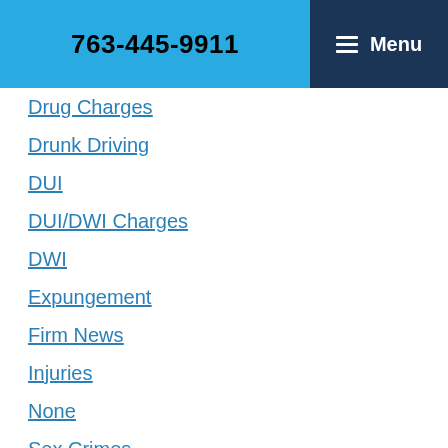763-445-9911  Menu
Drug Charges
Drunk Driving
DUI
DUI/DWI Charges
DWI
Expungement
Firm News
Injuries
None
Sex Crimes
Uncategorized